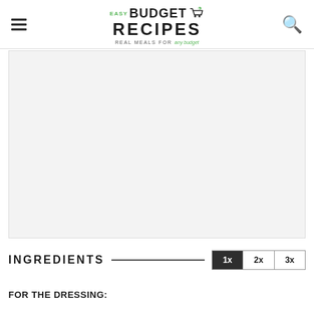Easy Budget Recipes — Real Meals for any budget
[Figure (photo): Blank/light gray image placeholder area for recipe photo]
INGREDIENTS  1x  2x  3x
FOR THE DRESSING: